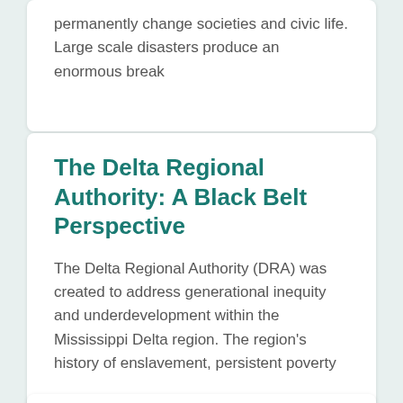permanently change societies and civic life. Large scale disasters produce an enormous break
The Delta Regional Authority: A Black Belt Perspective
The Delta Regional Authority (DRA) was created to address generational inequity and underdevelopment within the Mississippi Delta region. The region's history of enslavement, persistent poverty
Community-Centered Model Of Equitable And Just Employment